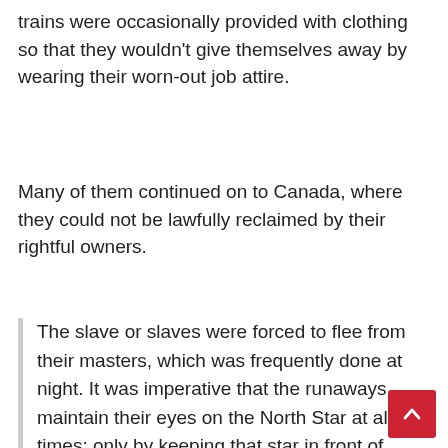trains were occasionally provided with clothing so that they wouldn't give themselves away by wearing their worn-out job attire.
Many of them continued on to Canada, where they could not be lawfully reclaimed by their rightful owners.
The slave or slaves were forced to flee from their masters, which was frequently done at night. It was imperative that the runaways maintain their eyes on the North Star at all times; only by keeping that star in front of them could they be certain that they were on their trip north.